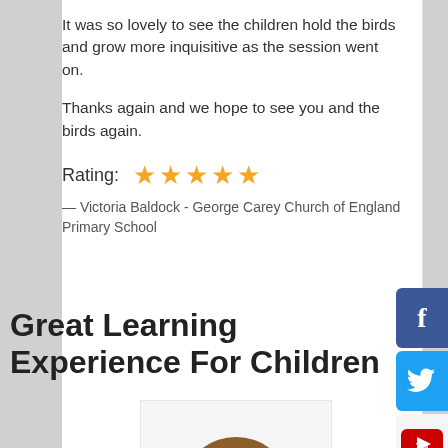It was so lovely to see the children hold the birds and grow more inquisitive as the session went on.
Thanks again and we hope to see you and the birds again.
Rating: ★★★★★
— Victoria Baldock - George Carey Church of England Primary School
Great Learning Experience For Children
[Figure (illustration): Avatar illustration of a woman with brown hair wearing a black jacket, no facial features shown, generic profile image]